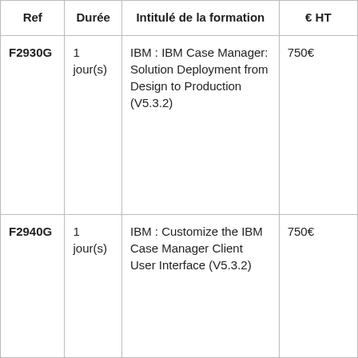| Ref | Durée | Intitulé de la formation | € HT |
| --- | --- | --- | --- |
| F2930G | 1 jour(s) | IBM : IBM Case Manager: Solution Deployment from Design to Production (V5.3.2) | 750€ |
| F2940G | 1 jour(s) | IBM : Customize the IBM Case Manager Client User Interface (V5.3.2) | 750€ |